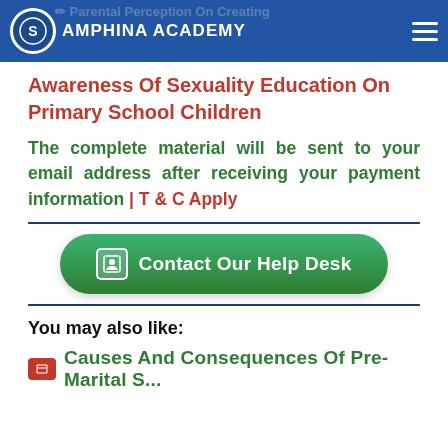Amphina Academy — Parental Perception On Creating Awareness Of Sexuality Education On Primary School Children
Awareness Of Sexuality Education On Primary School Children
The complete material will be sent to your email address after receiving your payment information | T & C Apply
[Figure (other): Green rounded button labeled 'Contact Our Help Desk' with a person/contact icon]
You may also like:
Causes And Consequences Of Pre-Marital S...